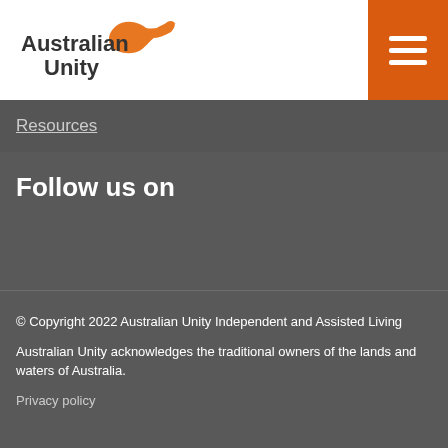Australian Unity
Resources
Follow us on
© Copyright 2022 Australian Unity Independent and Assisted Living
Australian Unity acknowledges the traditional owners of the lands and waters of Australia.
Privacy policy